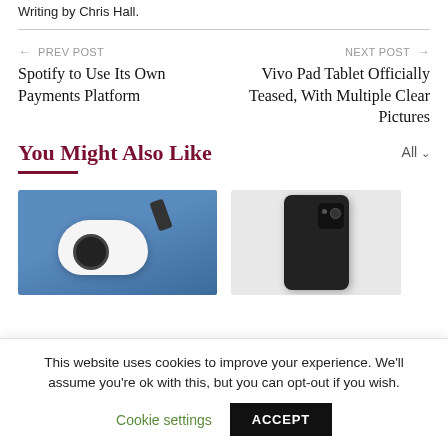Writing by Chris Hall.
← PREV POST
Spotify to Use Its Own Payments Platform
NEXT POST →
Vivo Pad Tablet Officially Teased, With Multiple Clear Pictures
You Might Also Like
[Figure (photo): Thumbnail image of a white security camera device against a blue sky background]
[Figure (photo): Thumbnail image of a dark smartphone (Pixel 6) showing camera bump on the back]
This website uses cookies to improve your experience. We'll assume you're ok with this, but you can opt-out if you wish.
Cookie settings  ACCEPT